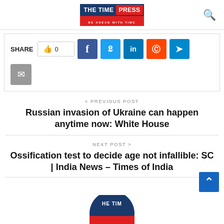THE TIME PRESS — BE AHEAD WITH TIME
[Figure (infographic): Share bar with like button (0), Facebook, Twitter, LinkedIn, Reddit, Telegram, and email social share buttons]
< PREVIOUS POST
Russian invasion of Ukraine can happen anytime now: White House
NEXT POST >
Ossification test to decide age not infallible: SC | India News – Times of India
[Figure (logo): The Time Press circular logo partially visible at bottom of page]